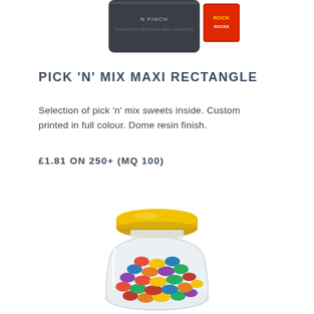[Figure (photo): Partial view of promotional merchandise items at top of page - a dark card/keyring with branding and a small red package]
PICK 'N' MIX MAXI RECTANGLE
Selection of pick 'n' mix sweets inside. Custom printed in full colour. Dome resin finish.
£1.81 ON 250+ (MQ 100)
[Figure (photo): A small round glass jar filled with colourful pick 'n' mix sweets (chocolate buttons in various colours: red, green, yellow, blue, pink, brown) with a yellow plastic lid]